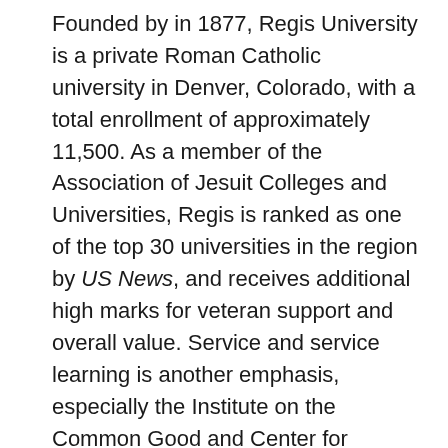Founded by in 1877, Regis University is a private Roman Catholic university in Denver, Colorado, with a total enrollment of approximately 11,500. As a member of the Association of Jesuit Colleges and Universities, Regis is ranked as one of the top 30 universities in the region by US News, and receives additional high marks for veteran support and overall value. Service and service learning is another emphasis, especially the Institute on the Common Good and Center for Service Learning, which incorporates community service and volunteering opportunities throughout curricula. Finally, with a 14:1 student-to-faculty ratio, Regis balances a vibrant, collaborative environment with individualized instruction. Nearly 60% of classes have fewer than 20 students.